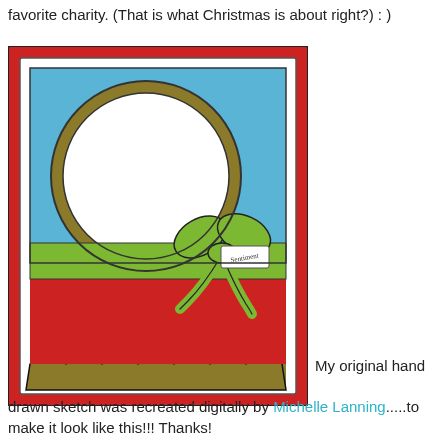favorite charity. (That is what Christmas is about right?) : )
[Figure (illustration): A digitally recreated card sketch showing a Christmas gift card layout. Red outer border, white inner border with scalloped olive/gold bottom strip. Blue upper panel with a large gold-outlined circle (white inside). A green ribbon wraps horizontally across the card with a green bow and a small tag labeled 'Sentiment'. Red lower panel beneath the ribbon.]
My original hand drawn sketch was recreated digitally by Michelle Lanning.....to make it look like this!!! Thanks!